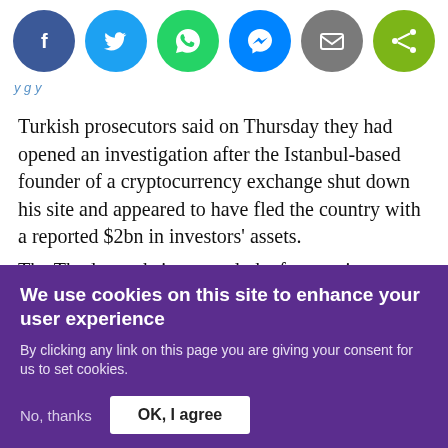[Figure (other): Row of six social media share buttons: Facebook (blue circle), Twitter (light blue circle), WhatsApp (green circle), Messenger (blue circle), Email (grey circle), Share (green circle)]
Turkish prosecutors said on Thursday they had opened an investigation after the Istanbul-based founder of a cryptocurrency exchange shut down his site and appeared to have fled the country with a reported $2bn in investors' assets.
The Thodex website went dark after posting a mysterious
We use cookies on this site to enhance your user experience
By clicking any link on this page you are giving your consent for us to set cookies.
No, thanks
OK, I agree